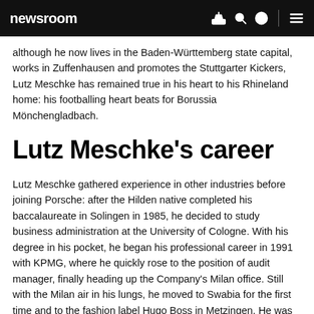newsroom
although he now lives in the Baden-Württemberg state capital, works in Zuffenhausen and promotes the Stuttgarter Kickers, Lutz Meschke has remained true in his heart to his Rhineland home: his footballing heart beats for Borussia Mönchengladbach.
Lutz Meschke's career
Lutz Meschke gathered experience in other industries before joining Porsche: after the Hilden native completed his baccalaureate in Solingen in 1985, he decided to study business administration at the University of Cologne. With his degree in his pocket, he began his professional career in 1991 with KPMG, where he quickly rose to the position of audit manager, finally heading up the Company's Milan office. Still with the Milan air in his lungs, he moved to Swabia for the first time and to the fashion label Hugo Boss in Metzingen. He was responsible for leading the group consolidation from 1999